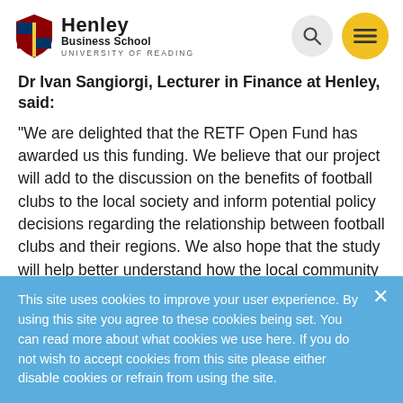Henley Business School — University of Reading
Dr Ivan Sangiorgi, Lecturer in Finance at Henley, said:
“We are delighted that the RETF Open Fund has awarded us this funding. We believe that our project will add to the discussion on the benefits of football clubs to the local society and inform potential policy decisions regarding the relationship between football clubs and their regions. We also hope that the study will help better understand how the local community in
This site uses cookies to improve your user experience. By using this site you agree to these cookies being set. You can read more about what cookies we use here. If you do not wish to accept cookies from this site please either disable cookies or refrain from using the site.